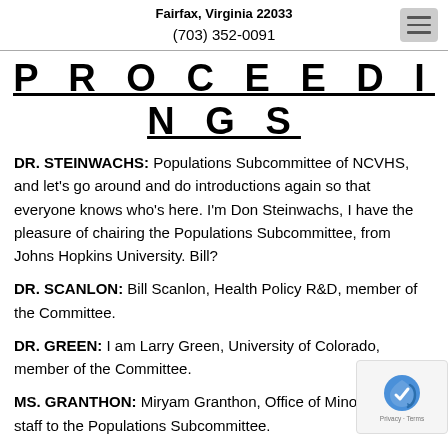Fairfax, Virginia 22033
(703) 352-0091
PROCEEDINGS
DR. STEINWACHS: Populations Subcommittee of NCVHS, and let's go around and do introductions again so that everyone knows who's here. I'm Don Steinwachs, I have the pleasure of chairing the Populations Subcommittee, from Johns Hopkins University. Bill?
DR. SCANLON: Bill Scanlon, Health Policy R&D, member of the Committee.
DR. GREEN: I am Larry Green, University of Colorado, member of the Committee.
MS. GRANTHON: Miryam Granthon, Office of Minority and staff to the Populations Subcommittee.
DR. STEURELE: Hi, I'm Gene Steurele from the Urban...